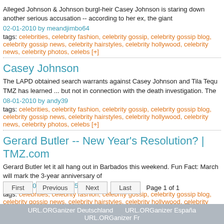Alleged Johnson & Johnson burgl-heir Casey Johnson is staring down another serious accusation -- according to her ex, the giant
02-01-2010 by meandjimbo64
tags: celebrities, celebrity fashion, celebrity gossip, celebrity gossip blog, celebrity gossip news, celebrity hairstyles, celebrity hollywood, celebrity news, celebrity photos, celebs [+]
Casey Johnson
The LAPD obtained search warrants against Casey Johnson and Tila Tequi TMZ has learned ... but not in connection with the death investigation. The
08-01-2010 by andy39
tags: celebrities, celebrity fashion, celebrity gossip, celebrity gossip blog, celebrity gossip news, celebrity hairstyles, celebrity hollywood, celebrity news, celebrity photos, celebs [+]
Gerard Butler -- New Year's Resolution? | TMZ.com
Gerard Butler let it all hang out in Barbados this weekend. Fun Fact: March will mark the 3-year anniversary of
07-02-2010 by jcarsonny512
tags: celebrities, celebrity fashion, celebrity gossip, celebrity gossip blog, celebrity gossip news, celebrity hairstyles, celebrity hollywood, celebrity news, celebrity photos, celebs [+]
Page 1 of 1
Copyright ©2022   |   A...
URL.ORGanizer Deutschland   URL.ORGanizer España   URL.ORGanizer Fr...